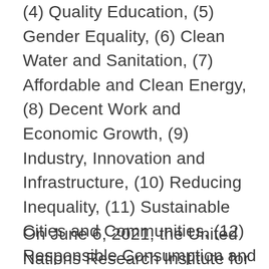(4) Quality Education, (5) Gender Equality, (6) Clean Water and Sanitation, (7) Affordable and Clean Energy, (8) Decent Work and Economic Growth, (9) Industry, Innovation and Infrastructure, (10) Reducing Inequality, (11) Sustainable Cities and Communities, (12) Responsible Consumption and Production, (13) Climate Action, (14) Life Below Water, (15) Life On Land, (16) Peace, Justice, and Strong Institutions, (17) Partnerships for the Goals.
On June 6, 2021, the United Nations Research Institute for Social